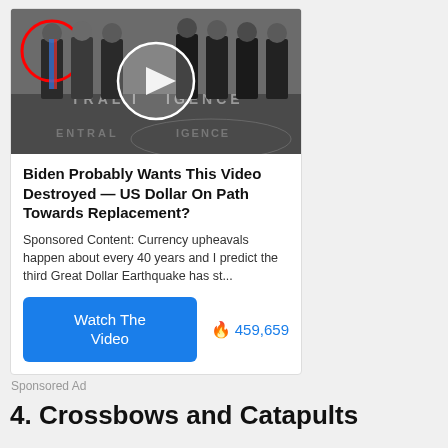[Figure (screenshot): Advertisement card showing a photo of people standing in what appears to be a CIA lobby. One person on the left is circled in red. There is a play button circle overlay in the center of the image.]
Biden Probably Wants This Video Destroyed — US Dollar On Path Towards Replacement?
Sponsored Content: Currency upheavals happen about every 40 years and I predict the third Great Dollar Earthquake has st...
Watch The Video
🔥 459,659
Sponsored Ad
4. Crossbows and Catapults